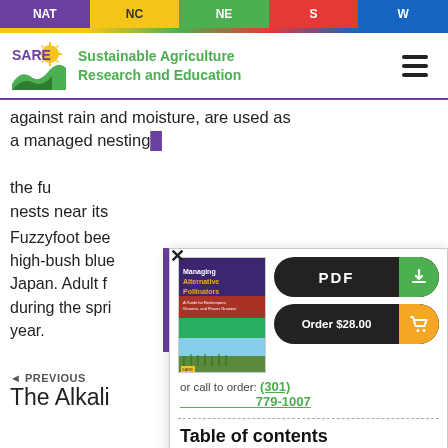NAT | NC | NE | S | W
[Figure (logo): SARE - Sustainable Agriculture Research and Education logo with green field and sun icon]
against rain and moisture, are used as a managed nesting ... while ... the ... nesting near its
Fuzzyfoot bee ... high-bush blue ... Japan. Adult f ... during the spri ... year.
[Figure (illustration): Modal popup showing book cover of 'Managing Alternative Pollinators' with PDF download button, Order $28.00 button, and call to order (301) 779-1007, followed by Table of contents with Foreword and To Our Readers]
Foreword
To Our Readers
◄ PREVIOUS
The Alkali...